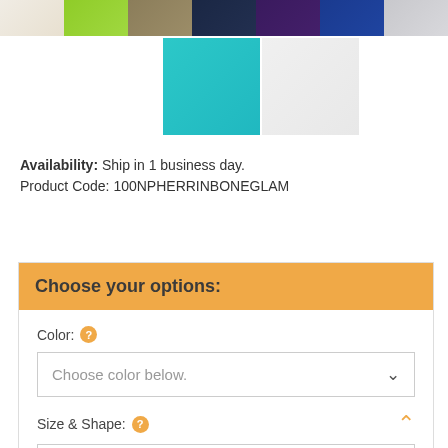[Figure (photo): Color swatch samples row - cream/white, lime green, olive/tan, dark navy, dark purple, royal blue, light gray]
[Figure (photo): Two additional color swatches - turquoise/teal and white/light]
Availability: Ship in 1 business day.
Product Code: 100NPHERRINBONEGLAM
Choose your options:
Color: [help icon]
Choose color below.
Size & Shape: [help icon]
Choose size below.